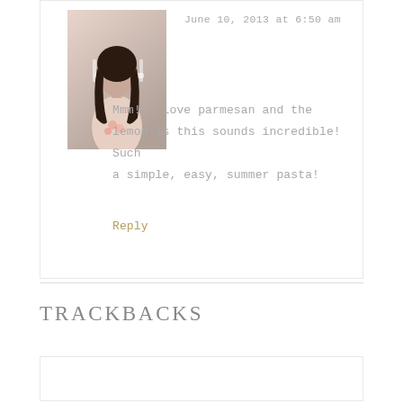[Figure (photo): Profile photo of a woman with long dark hair, wearing a light pink cardigan, holding flowers, standing outdoors]
June 10, 2013 at 6:50 am
Mmm! I love parmesan and the lemon is this sounds incredible! Such a simple, easy, summer pasta!
Reply
TRACKBACKS